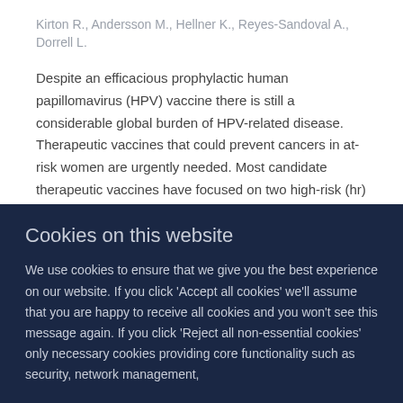Kirton R., Andersson M., Hellner K., Reyes-Sandoval A., Dorrell L.
Despite an efficacious prophylactic human papillomavirus (HPV) vaccine there is still a considerable global burden of HPV-related disease. Therapeutic vaccines that could prevent cancers in at-risk women are urgently needed. Most candidate therapeutic vaccines have focused on two high-risk (hr) HPV genotypes, 16 and 18, and two viral targets, E6 and E7, which may limit global coverage and efficacy. We designed the synthetic gene '5GHPV3' by selecting conserved regions from
Cookies on this website
We use cookies to ensure that we give you the best experience on our website. If you click 'Accept all cookies' we'll assume that you are happy to receive all cookies and you won't see this message again. If you click 'Reject all non-essential cookies' only necessary cookies providing core functionality such as security, network management, and accessibility will be enabled. Click 'Find out more' for